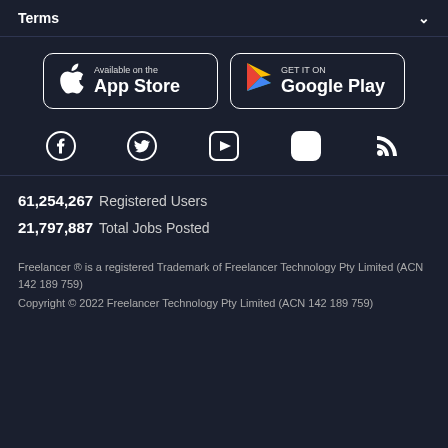Terms
[Figure (illustration): Apple App Store download badge and Google Play Store download badge side by side]
[Figure (illustration): Social media icons row: Facebook, Twitter, YouTube, Instagram, RSS]
61,254,267  Registered Users
21,797,887  Total Jobs Posted
Freelancer ® is a registered Trademark of Freelancer Technology Pty Limited (ACN 142 189 759)
Copyright © 2022 Freelancer Technology Pty Limited (ACN 142 189 759)